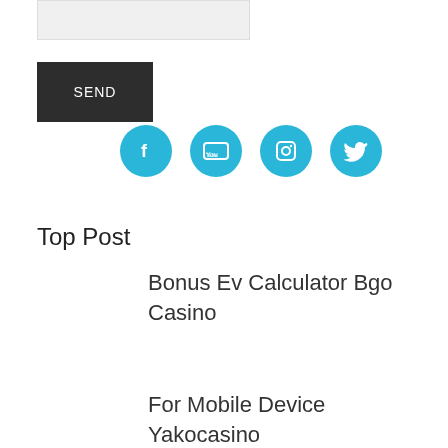[Figure (screenshot): Gray input text box (form field)]
SEND
[Figure (infographic): Four cyan/blue circular social media icons: Facebook, YouTube, Instagram, Twitter]
Top Post
Bonus Ev Calculator Bgo Casino
For Mobile Device Yakocasino